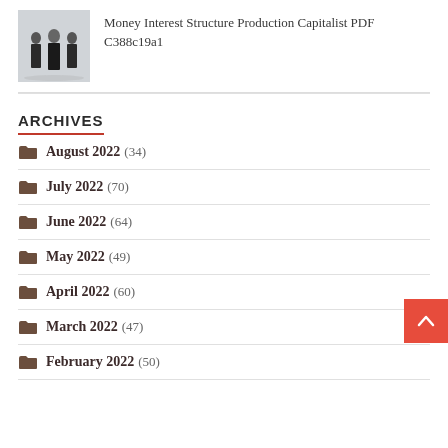[Figure (photo): Thumbnail photo of business people in suits]
Money Interest Structure Production Capitalist PDF C388c19a1
ARCHIVES
August 2022 (34)
July 2022 (70)
June 2022 (64)
May 2022 (49)
April 2022 (60)
March 2022 (47)
February 2022 (50)